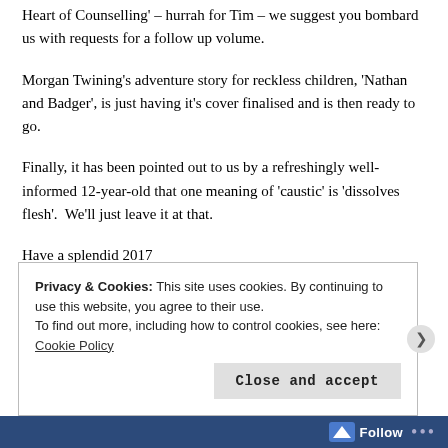Heart of Counselling' – hurrah for Tim – we suggest you bombard us with requests for a follow up volume.
Morgan Twining's adventure story for reckless children, 'Nathan and Badger', is just having it's cover finalised and is then ready to go.
Finally, it has been pointed out to us by a refreshingly well-informed 12-year-old that one meaning of 'caustic' is 'dissolves flesh'.  We'll just leave it at that.
Have a splendid 2017
The Caustic Cat
Privacy & Cookies: This site uses cookies. By continuing to use this website, you agree to their use.
To find out more, including how to control cookies, see here: Cookie Policy
Close and accept